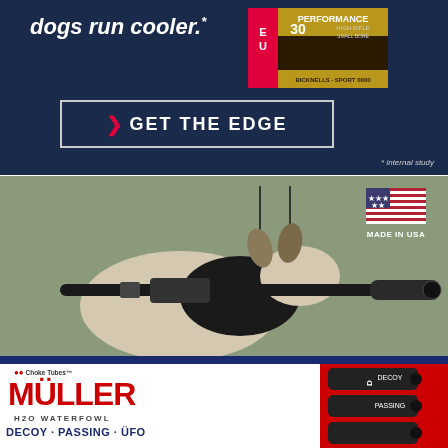[Figure (illustration): Top dark blue advertisement banner with text 'dogs run cooler.*', a product package image on the right showing 'PERFORMANCE 30 20', and a 'GET THE EDGE' call-to-action button with a red chevron. Footnote: '* internal study']
[Figure (photo): Outdoor hunting photo showing a gun barrel/choke tube extended, with a hunting dog (black and white) in the background. US flag icon in top right with 'MADE IN USA' text.]
[Figure (illustration): Muller Choke Tubes advertisement. Brand name 'MÜLLER' in large red text, subtitle 'H2O WATERFOWL', product line 'DECOY · PASSING · ÜFO'. Bullet points: 'GUARANTEED TO OUTPERFORM ALL OTHER CHOKES ON THE MARKET', '60 DAY NO RISK MONEY BACK GUARANTEE', 'GUN SPECIFIC PATTERNING GEOMETRY (G.S.P.G.)'. Right side shows three black choke tube products labeled DECOY, PASSING, and a third.]